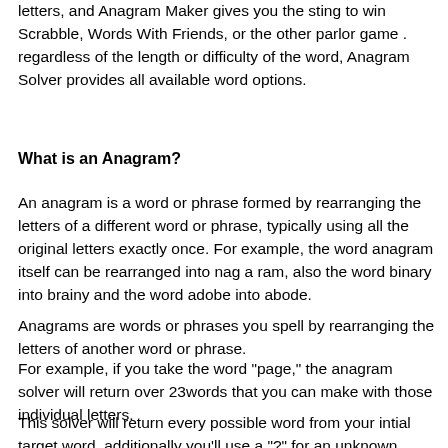letters, and Anagram Maker gives you the sting to win Scrabble, Words With Friends, or the other parlor game . regardless of the length or difficulty of the word, Anagram Solver provides all available word options.
What is an Anagram?
An anagram is a word or phrase formed by rearranging the letters of a different word or phrase, typically using all the original letters exactly once. For example, the word anagram itself can be rearranged into nag a ram, also the word binary into brainy and the word adobe into abode.
Anagrams are words or phrases you spell by rearranging the letters of another word or phrase.
For example, if you take the word "page," the anagram solver will return over 23words that you can make with those individual letters.
This solver will return every possible word from your intial target word, additionally you'll use a "?" for an unknown letter